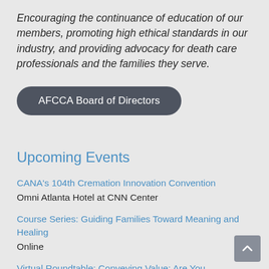Encouraging the continuance of education of our members, promoting high ethical standards in our industry, and providing advocacy for death care professionals and the families they serve.
AFCCA Board of Directors
Upcoming Events
CANA's 104th Cremation Innovation Convention
Omni Atlanta Hotel at CNN Center
Course Series: Guiding Families Toward Meaning and Healing
Online
Virtual Roundtable: Conveying Value: Are You